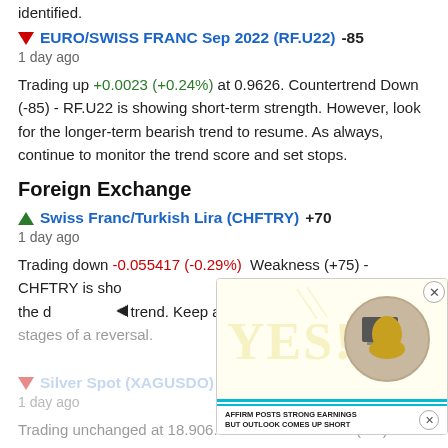identified.
EURO/SWISS FRANC Sep 2022 (RF.U22) -85
1 day ago
Trading up +0.0023 (+0.24%) at 0.9626. Countertrend Down (-85) - RF.U22 is showing short-term strength. However, look for the longer-term bearish trend to resume. As always, continue to monitor the trend score and set stops.
Foreign Exchange
Swiss Franc/Turkish Lira (CHFTRY) +70
1 day ago
Trading down -0.055417 (-0.29%) ... Weakness (+75) - CHFTRY is showing weakness, but still remains in the downtrend. Keep an eye on CHFTRY ... stages of a reversal.
Silver Spot (XAGUSDO) -85
1 day ago
Trading unchanged at 18.906. Countertrend Down (-85) -